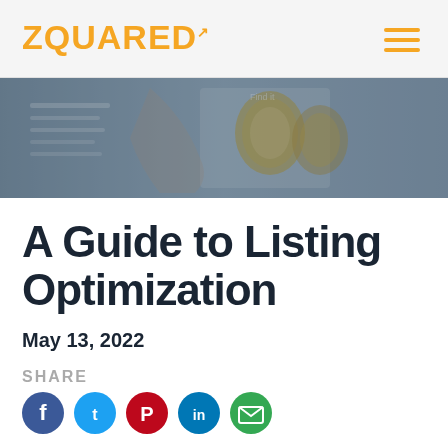ZQUARED
[Figure (photo): Overhead photo of a person's hands holding a catalog/magazine showing watches, with a soft blue-grey overlay tint]
A Guide to Listing Optimization
May 13, 2022
SHARE
[Figure (infographic): Row of social media share icons: Facebook (blue), Twitter (cyan), Pinterest (red), LinkedIn (blue), Email (green)]